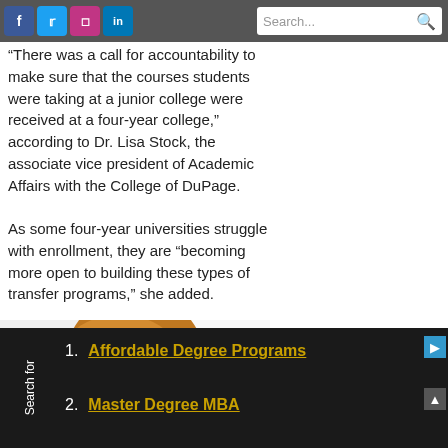Social media icons: Facebook, Twitter, Instagram, LinkedIn | Search bar
“There was a call for accountability to make sure that the courses students were taking at a junior college were received at a four-year college,” according to Dr. Lisa Stock, the associate vice president of Academic Affairs with the College of DuPage.
As some four-year universities struggle with enrollment, they are “becoming more open to building these types of transfer programs,” she added.
[Figure (photo): Photo of a woman with reddish-blonde hair (Dr. Lisa Stock), cropped showing top of head/forehead]
1. Affordable Degree Programs
2. Master Degree MBA
Search for